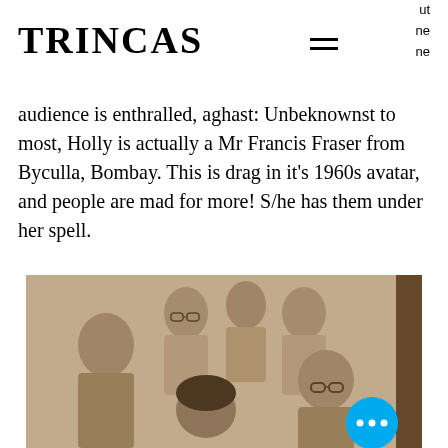TRINCAS
ut ne ne
audience is enthralled, aghast: Unbeknownst to most, Holly is actually a Mr Francis Fraser from Byculla, Bombay. This is drag in it's 1960s avatar, and people are mad for more! S/he has them under her spell.
[Figure (photo): Vintage sepia-toned photograph of a group of young men, approximately six people, posed together. One person in the foreground has long dark hair suggesting feminine styling. Several wear glasses. The photo has a 1960s aesthetic.]